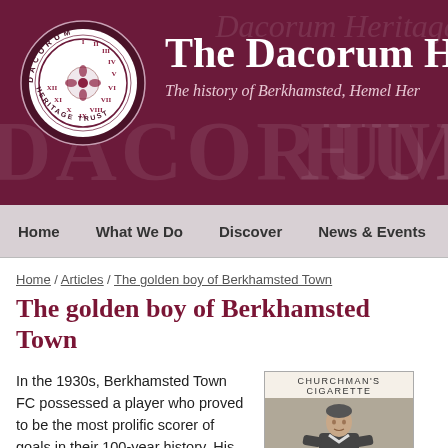[Figure (logo): Dacorum Heritage Trust circular logo with Roman numerals and decorative center, on dark maroon/purple banner with title 'The Dacorum Heritage Trust' and subtitle 'The history of Berkhamsted, Hemel He...']
The Dacorum Heritage Trust — The history of Berkhamsted, Hemel He...
Home | What We Do | Discover | News & Events | S...
Home / Articles / The golden boy of Berkhamsted Town
The golden boy of Berkhamsted Town
In the 1930s, Berkhamsted Town FC possessed a player who proved to be the most prolific scorer of goals in their 100-year history. His name was Frank Broome, a speedy, tricky winger with a fierce shot. Born
[Figure (photo): Churchman's Cigarette card showing a football player in dark jersey and light shorts, black and white vintage photograph]